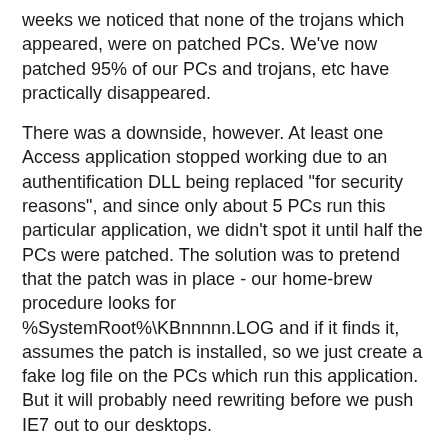weeks we noticed that none of the trojans which appeared, were on patched PCs. We've now patched 95% of our PCs and trojans, etc have practically disappeared.
There was a downside, however. At least one Access application stopped working due to an authentification DLL being replaced "for security reasons", and since only about 5 PCs run this particular application, we didn't spot it until half the PCs were patched. The solution was to pretend that the patch was in place - our home-brew procedure looks for %SystemRoot%\KBnnnnn.LOG and if it finds it, assumes the patch is installed, so we just create a fake log file on the PCs which run this application. But it will probably need rewriting before we push IE7 out to our desktops.
So, for once, the obvious advice ("keep your PC up to date with patches") actually has some use. Does it justify buying software to do it? Of course not (we do everything from distributed command-line scripts), but it may save you some malware cleanups, and the damage to the stability of your application platform by the patches may be sufficiently limited to actually make the whole thing worthwhile.